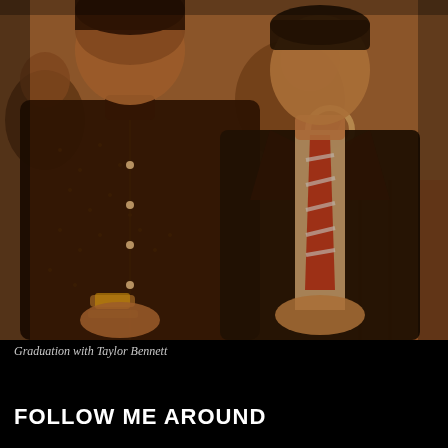[Figure (photo): Sepia-toned photograph of two men standing side by side. The man on the left wears a dark patterned button-up shirt with a watch and bracelet, hands clasped in front. The man on the right wears a dark suit jacket with a striped tie and light dress shirt, hands folded in front. Several people are visible in the background. The photo has a warm sepia/brown tone.]
Graduation with Taylor Bennett
FOLLOW ME AROUND